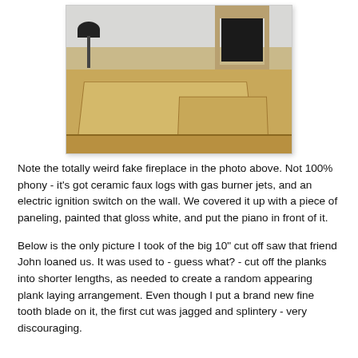[Figure (photo): Interior room photo showing large plywood sheets laid on the floor during flooring installation. A black floor lamp is visible on the left, and a fake/gas fireplace with ceramic faux logs is visible on the right wall in the background.]
Note the totally weird fake fireplace in the photo above. Not 100% phony - it's got ceramic faux logs with gas burner jets, and an electric ignition switch on the wall. We covered it up with a piece of paneling, painted that gloss white, and put the piano in front of it.
Below is the only picture I took of the big 10" cut off saw that friend John loaned us. It was used to - guess what? - cut off the planks into shorter lengths, as needed to create a random appearing plank laying arrangement. Even though I put a brand new fine tooth blade on it, the first cut was jagged and splintery - very discouraging.